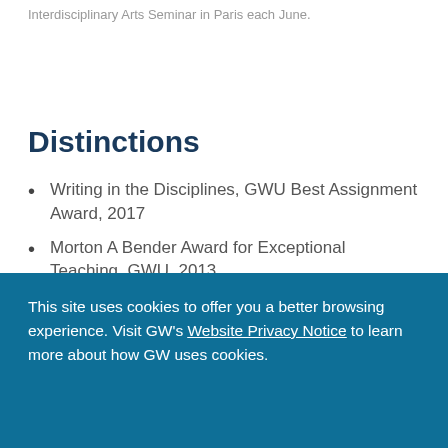Interdisciplinary Arts Seminar in Paris each June.
Distinctions
Writing in the Disciplines, GWU Best Assignment Award, 2017
Morton A Bender Award for Exceptional Teaching, GWU, 2013
Elizabeth J Somers Leadership Award for Faculty, GWU, 2005
This site uses cookies to offer you a better browsing experience. Visit GW's Website Privacy Notice to learn more about how GW uses cookies.